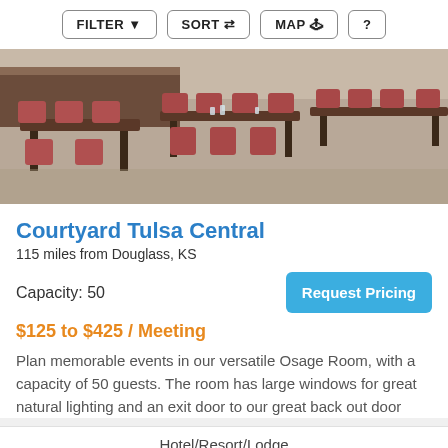FILTER  SORT  MAP  ?
[Figure (photo): Interior photo of a meeting/conference room with rows of brown tables and red/mauve padded chairs, natural lighting, hardwood floor.]
Courtyard Tulsa Central
115 miles from Douglass, KS
Capacity: 50
Request Pricing
$125 to $425 / Meeting
Plan memorable events in our versatile Osage Room, with a capacity of 50 guests. The room has large windows for great natural lighting and an exit door to our great back out door
Hotel/Resort/Lodge